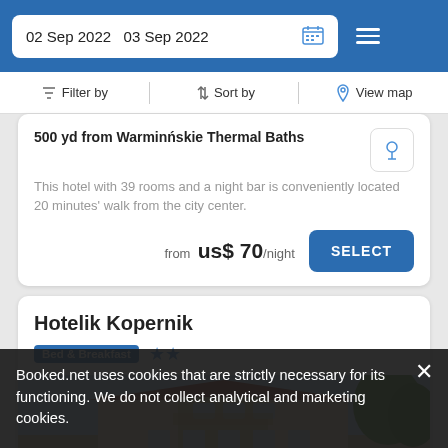02 Sep 2022   03 Sep 2022
Filter by   Sort by   View map
500 yd from Warmińskie Thermal Baths
This hotel with 39 rooms and a night bar is conveniently located 20 minutes' walk from the city center.
from us$ 70/night
SELECT
Hotelik Kopernik
Bed & Breakfast ★★
[Figure (photo): Photo of Hotelik Kopernik hotel building with red tile roof]
Booked.net uses cookies that are strictly necessary for its functioning. We do not collect analytical and marketing cookies.